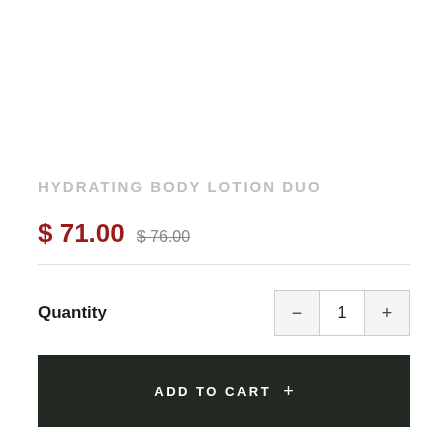HYDRATING BODY LOTION DUO
$ 71.00  $ 76.00
Quantity  1
ADD TO CART +